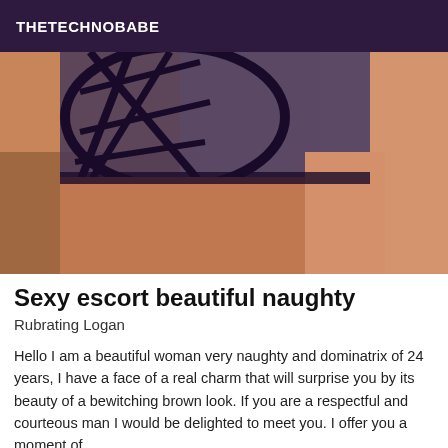THETECHNOBABE
[Figure (photo): Close-up photo of a person wearing dark lace/mesh lingerie top, skin tones visible, cropped image showing torso area]
Sexy escort beautiful naughty
Rubrating Logan
Hello I am a beautiful woman very naughty and dominatrix of 24 years, I have a face of a real charm that will surprise you by its beauty of a bewitching brown look. If you are a respectful and courteous man I would be delighted to meet you. I offer you a moment of